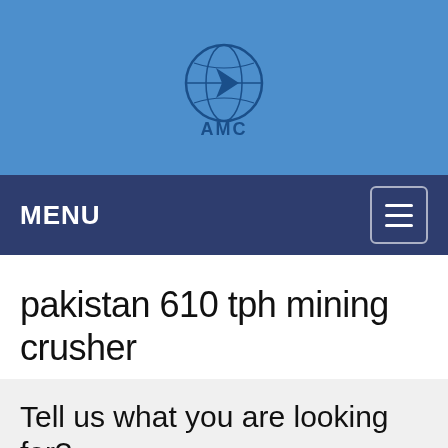[Figure (logo): AMC logo with globe icon on blue background]
MENU
pakistan 610 tph mining crusher
Tell us what you are looking for?
Please fill in and submit the following form, our service team will contact you as soon as possible and provide a complete solution.